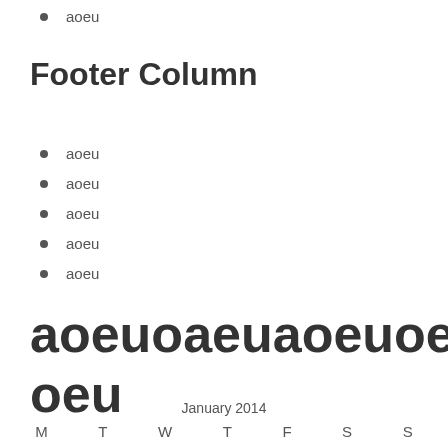aoeu
Footer Column
aoeu
aoeu
aoeu
aoeu
aoeu
aoeuoaeuaoeuoeaua oeu
January 2014
M   T   W   T   F   S   S